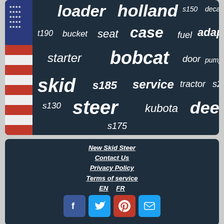[Figure (infographic): Word cloud on dark blue background with equipment/brand terms like loader, holland, s150, decal, t190, bucket, seat, case, fuel, adapter, starter, bobcat, door, pump, skid, s185, service, tractor, s205, s130, steer, kubota, deere, s175. American flag image on left side.]
New Skid Steer
Contact Us
Privacy Policy
Terms of service
EN  FR